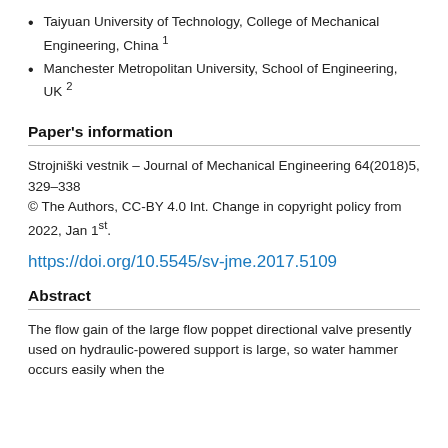Taiyuan University of Technology, College of Mechanical Engineering, China 1
Manchester Metropolitan University, School of Engineering, UK 2
Paper's information
Strojniški vestnik – Journal of Mechanical Engineering 64(2018)5, 329–338
© The Authors, CC-BY 4.0 Int. Change in copyright policy from 2022, Jan 1st.
https://doi.org/10.5545/sv-jme.2017.5109
Abstract
The flow gain of the large flow poppet directional valve presently used on hydraulic-powered support is large, so water hammer occurs easily when the